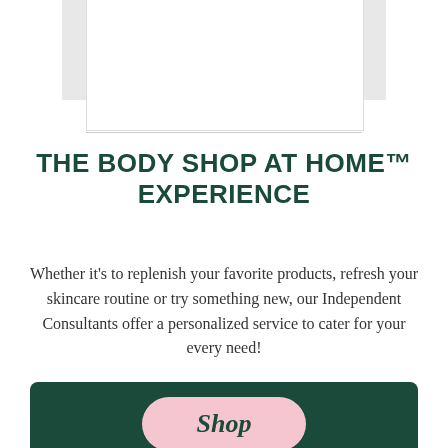[Figure (illustration): Partial view of a card or brochure element with side tabs, white background, shown from top portion of page]
THE BODY SHOP AT HOME™ EXPERIENCE
Whether it's to replenish your favorite products, refresh your skincare routine or try something new, our Independent Consultants offer a personalized service to cater for your every need!
[Figure (illustration): Dark green banner with a pink pill-shaped Shop button and text 'EMPOWERING PEOPLE SINCE 1994 - START YOUR BUSINESS TODAY']